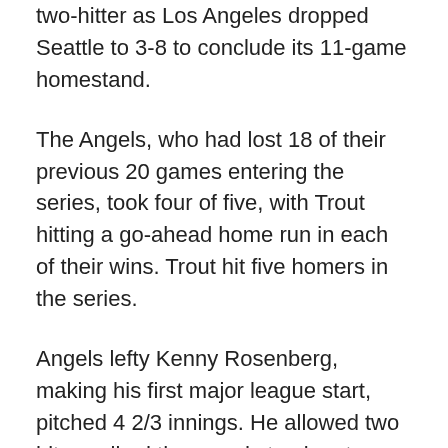two-hitter as Los Angeles dropped Seattle to 3-8 to conclude its 11-game homestand.
The Angels, who had lost 18 of their previous 20 games entering the series, took four of five, with Trout hitting a go-ahead home run in each of their wins. Trout hit five homers in the series.
Angels lefty Kenny Rosenberg, making his first major league start, pitched 4 2/3 innings. He allowed two hits, walked three and struck out one. Andrew Wantz (1-0), Aaron Loup, Ryan Tepera and Raisel Iglesias closed out the victory